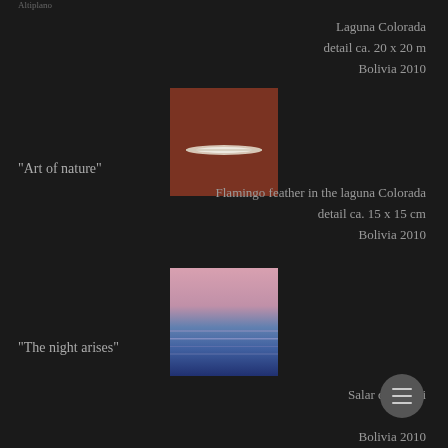Altiplano
Laguna Colorada
detail ca. 20 x 20 m
Bolivia 2010
[Figure (photo): Small thumbnail photograph showing a flamingo feather on dark reddish-brown water surface of Laguna Colorada]
“Art of nature”
Flamingo feather in the laguna Colorada
detail ca. 15 x 15 cm
Bolivia 2010
[Figure (photo): Small thumbnail photograph showing a twilight or dawn landscape with pink and blue horizontal bands over Salar de Uyuni]
“The night arises”
Salar de Uyuni
Bolivia 2010